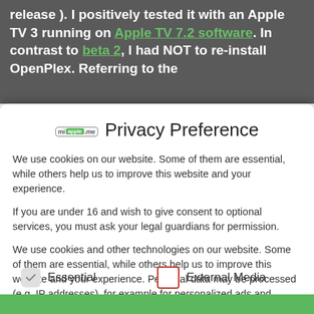release ). I positively tested it with an Apple TV 3 running on Apple TV 7.2 software. In contrast to beta 2, I had NOT to re-install OpenPlex. Referring to the
Privacy Preference
We use cookies on our website. Some of them are essential, while others help us to improve this website and your experience.
If you are under 16 and wish to give consent to optional services, you must ask your legal guardians for permission.
We use cookies and other technologies on our website. Some of them are essential, while others help us to improve this website and your experience. Personal data may be processed (e.g. IP addresses), for example for personalized ads and content or ad and content measurement. You can find more information about the use of your data in our privacy policy. You can revoke or adjust your selection at any time under Settings.
Essential
External Media